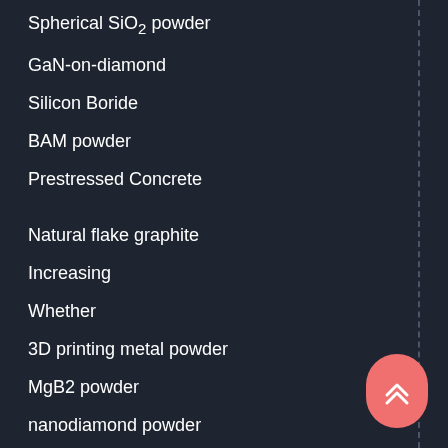Spherical SiO2 powder
GaN-on-diamond
Silicon Boride
BAM powder
Prestressed Concrete
Natural flake graphite
Increasing
Whether
3D printing metal powder
MgB2 powder
nanodiamond powder
2-Mercaptomethylbenzimidazole Zinc